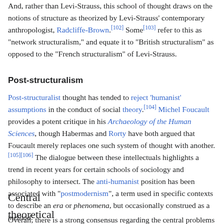And, rather than Levi-Strauss, this school of thought draws on the notions of structure as theorized by Levi-Strauss' contemporary anthropologist, Radcliffe-Brown.[102] Some[103] refer to this as "network structuralism," and equate it to "British structuralism" as opposed to the "French structuralism" of Levi-Strauss.
Post-structuralism
Post-structuralist thought has tended to reject 'humanist' assumptions in the conduct of social theory.[104] Michel Foucault provides a potent critique in his Archaeology of the Human Sciences, though Habermas and Rorty have both argued that Foucault merely replaces one such system of thought with another.[105][106] The dialogue between these intellectuals highlights a trend in recent years for certain schools of sociology and philosophy to intersect. The anti-humanist position has been associated with "postmodernism", a term used in specific contexts to describe an era or phenomena, but occasionally construed as a method.
Central theoretical problems
Overall, there is a strong consensus regarding the central problems